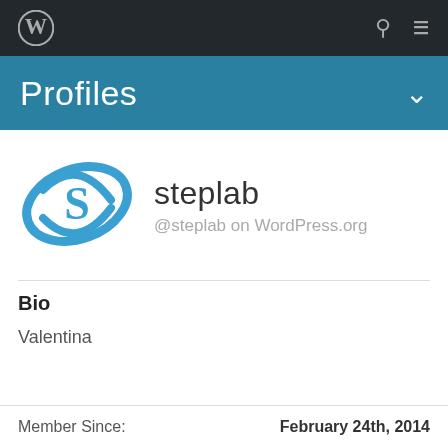WordPress navigation bar with logo, search, and menu icons
Profiles
[Figure (logo): Steplab logo — blue elliptical swoosh with stylized S letter]
steplab
@steplab on WordPress.org
Bio
Valentina
Member Since:    February 24th, 2014